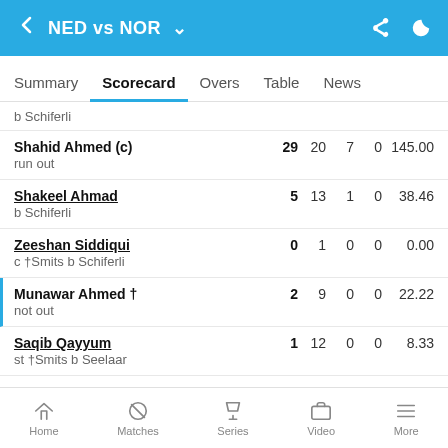NED vs NOR
Summary  Scorecard  Overs  Table  News
b Schiferli
| Player | R | B | 4s | 6s | SR |
| --- | --- | --- | --- | --- | --- |
| Shahid Ahmed (c)
run out | 29 | 20 | 7 | 0 | 145.00 |
| Shakeel Ahmad
b Schiferli | 5 | 13 | 1 | 0 | 38.46 |
| Zeeshan Siddiqui
c †Smits b Schiferli | 0 | 1 | 0 | 0 | 0.00 |
| Munawar Ahmed †
not out | 2 | 9 | 0 | 0 | 22.22 |
| Saqib Qayyum
st †Smits b Seelaar | 1 | 12 | 0 | 0 | 8.33 |
Extras  16  (b 4, lb 4, w 8)
Home  Matches  Series  Video  More